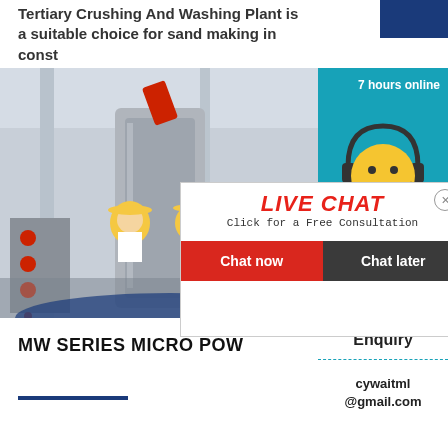Tertiary Crushing And Washing Plant is a suitable choice for sand making in const
[Figure (photo): Industrial machinery/grinding mill in a workshop setting with workers in yellow hard hats and white uniforms in front of a Live Chat overlay popup]
LIVE CHAT
Click for a Free Consultation
Chat now  Chat later
7 hours online
Click me to chat >>
Enquiry
cywaitml
@gmail.com
MW SERIES MICRO POW